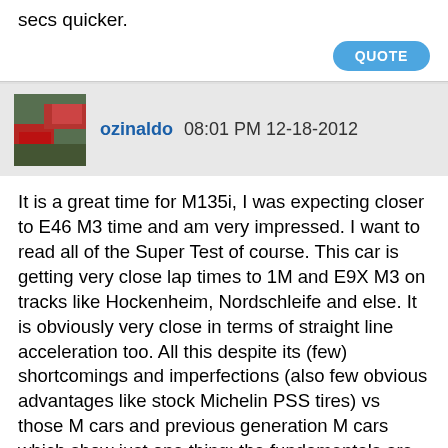secs quicker.
QUOTE
ozinaldo 08:01 PM 12-18-2012
It is a great time for M135i, I was expecting closer to E46 M3 time and am very impressed. I want to read all of the Super Test of course. This car is getting very close lap times to 1M and E9X M3 on tracks like Hockenheim, Nordschleife and else. It is obviously very close in terms of straight line acceleration too. All this despite its (few) shortcomings and imperfections (also few obvious advantages like stock Michelin PSS tires) vs those M cars and previous generation M cars which show just one thing; the fundamentals are very strong and a future M2 has the potential to be a great performing car unless BMW itself decides to cut it short because of company politics to keep a distance from more expensive future M cars.